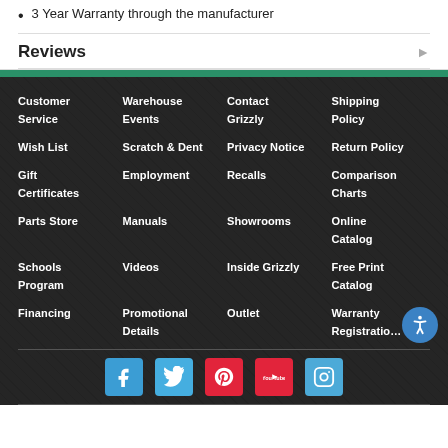3 Year Warranty through the manufacturer
Reviews
Customer Service
Warehouse Events
Contact Grizzly
Shipping Policy
Wish List
Scratch & Dent
Privacy Notice
Return Policy
Gift Certificates
Employment
Recalls
Comparison Charts
Parts Store
Manuals
Showrooms
Online Catalog
Schools Program
Videos
Inside Grizzly
Free Print Catalog
Financing
Promotional Details
Outlet
Warranty Registration
[Figure (infographic): Social media icons: Facebook, Twitter, Pinterest, YouTube, Instagram]